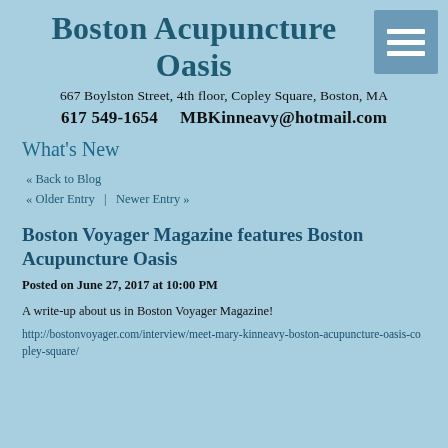Boston Acupuncture Oasis
667 Boylston Street, 4th floor, Copley Square, Boston, MA
617 549-1654    MBKinneavy@hotmail.com
What's New
« Back to Blog
« Older Entry  |  Newer Entry »
Boston Voyager Magazine features Boston Acupuncture Oasis
Posted on June 27, 2017 at 10:00 PM
A write-up about us in Boston Voyager Magazine!
http://bostonvoyager.com/interview/meet-mary-kinneavy-boston-acupuncture-oasis-copley-square/